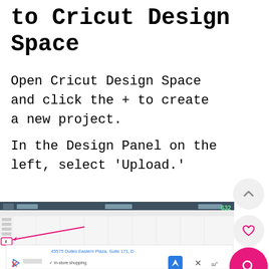to Cricut Design Space
Open Cricut Design Space and click the + to create a new project.
In the Design Panel on the left, select 'Upload.'
[Figure (screenshot): Screenshot of Cricut Design Space interface showing the design canvas and a pink arrow pointing to the Upload button on the left panel. Below the screenshot is a partial view of a map/address overlay showing '45575 Dulles Eastern Plaza, Suite 171, D' with navigation icons.]